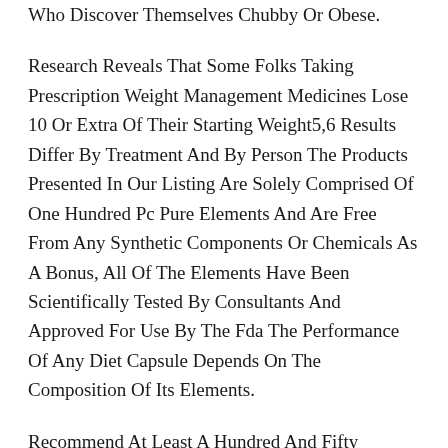Who Discover Themselves Chubby Or Obese.
Research Reveals That Some Folks Taking Prescription Weight Management Medicines Lose 10 Or Extra Of Their Starting Weight5,6 Results Differ By Treatment And By Person The Products Presented In Our Listing Are Solely Comprised Of One Hundred Pc Pure Elements And Are Free From Any Synthetic Components Or Chemicals As A Bonus, All Of The Elements Have Been Scientifically Tested By Consultants And Approved For Use By The Fda The Performance Of Any Diet Capsule Depends On The Composition Of Its Elements.
Recommend At Least A Hundred And Fifty Minutes Every Week Of Moderate Intensity Cardio Activityand No Less Than 2 Days Every Week Of Muscle Strengthening Activities You Might Have To Do Greater Than 300